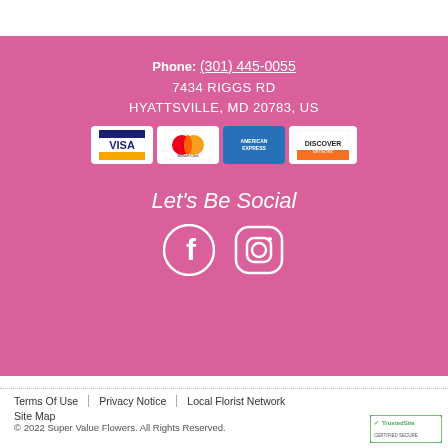Phone: (301) 445-0055
7434 RIGGS RD
HYATTSVILLE, MD 20783, US
[Figure (other): Payment method logos: VISA, MasterCard, American Express, Discover]
Let's Be Social
[Figure (other): Facebook and Instagram social media icons in white on pink background]
Terms Of Use | Privacy Notice | Local Florist Network
Site Map
© 2022 Super Value Flowers. All Rights Reserved.